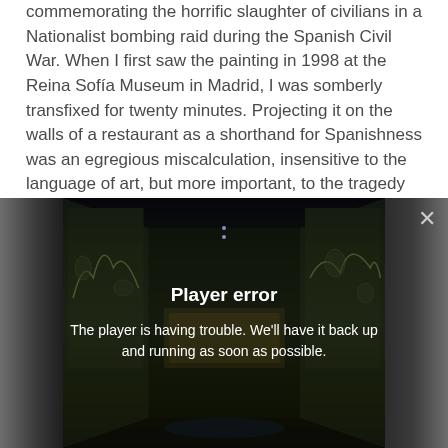commemorating the horrific slaughter of civilians in a Nationalist bombing raid during the Spanish Civil War. When I first saw the painting in 1998 at the Reina Sofía Museum in Madrid, I was somberly transfixed for twenty minutes. Projecting it on the walls of a restaurant as a shorthand for Spanishness was an egregious miscalculation, insensitive to the language of art, but more important, to the tragedy depicted.
[Figure (screenshot): A video player showing a dark room with Guernica-style projections on the walls, displaying a 'Player error' overlay message: 'The player is having trouble. We'll have it back up and running as soon as possible.' with a close (X) button in the top right.]